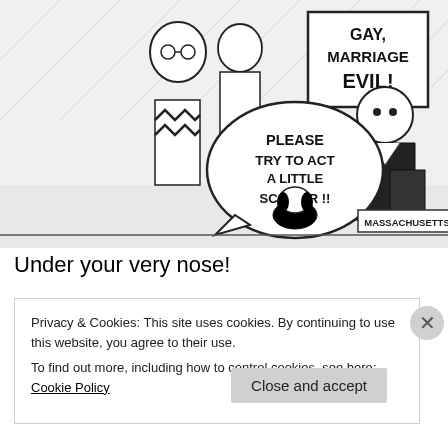[Figure (illustration): A black and white editorial cartoon showing cartoon characters including a Charlie Brown-like figure and a dog (Snoopy), with a speech bubble reading 'PLEASE TRY TO ACT A LITTLE SCARIER !!' and a sign reading 'GAY, MARRIAGE EVIL!' and a sign on the ground reading 'MASSACHUSETTS'. A man in a suit holds the anti-gay-marriage sign.]
Under your very nose!
Privacy & Cookies: This site uses cookies. By continuing to use this website, you agree to their use.
To find out more, including how to control cookies, see here: Cookie Policy